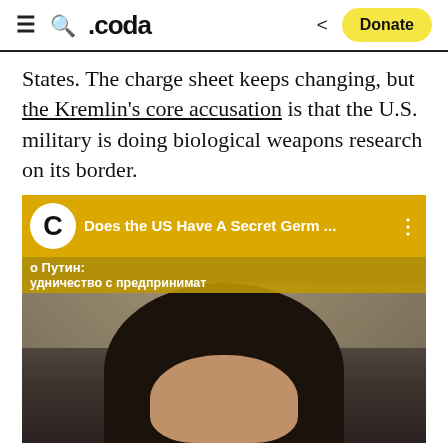≡ 🔍 .coda  < Donate
States. The charge sheet keeps changing, but the Kremlin's core accusation is that the U.S. military is doing biological weapons research on its border.
[Figure (screenshot): Video thumbnail screenshot showing a YouTube-style video player. Yellow banner at top with Coda logo (C) and title 'Does the US Have A Secret Germ ...' with three-dot menu. Below banner is Russian text 'о Путин: удничество с предпринимат'. Below is a video still of a young woman with dark hair in what appears to be a laboratory setting with shelves of bottles/equipment behind her.]